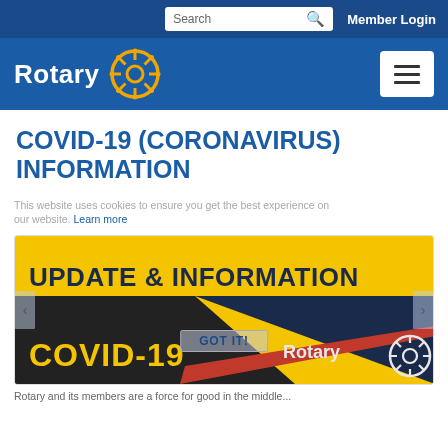Search | Member Login
[Figure (logo): Rotary International logo with gear wheel emblem and hamburger menu button]
COVID-19 (CORONAVIRUS) INFORMATION
This website uses cookies to ensure you get the best experience on our website. Learn more
[Figure (infographic): Rotary COVID-19 Update & Information banner image with yellow and dark background showing UPDATE & INFORMATION text and COVID-19 and Rotary branding, with GOT IT button overlay and left/right navigation arrows]
Rotary and its members are a force for good in the middle...